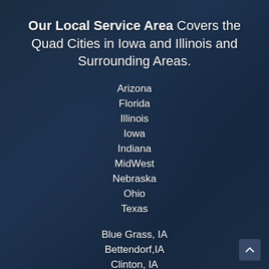Our Local Service Area Covers the Quad Cities in Iowa and Illinois and Surrounding Areas.
Arizona
Florida
Illinois
Iowa
Indiana
MidWest
Nebraska
Ohio
Texas
Blue Grass, IA
Bettendorf,IA
Clinton, IA